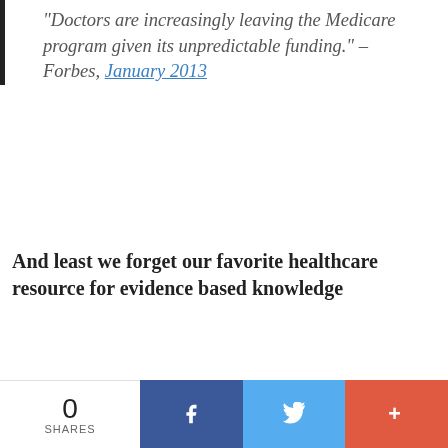“Doctors are increasingly leaving the Medicare program given its unpredictable funding.” – Forbes, January 2013
And least we forget our favorite healthcare resource for evidence based knowledge
The Wall Street Journal last month portrayed physician unhappiness with Medicare as a burning issue, with a cover story that detailed why many more doctors are opting out of the program.
0 SHARES